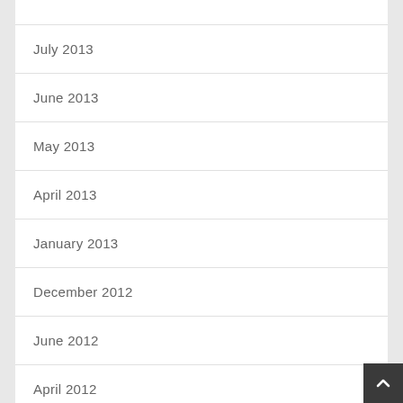August 2013
July 2013
June 2013
May 2013
April 2013
January 2013
December 2012
June 2012
April 2012